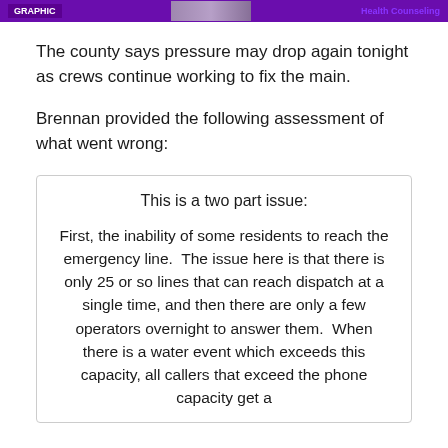Health Counseling
The county says pressure may drop again tonight as crews continue working to fix the main.
Brennan provided the following assessment of what went wrong:
This is a two part issue:

First, the inability of some residents to reach the emergency line.  The issue here is that there is only 25 or so lines that can reach dispatch at a single time, and then there are only a few operators overnight to answer them.  When there is a water event which exceeds this capacity, all callers that exceed the phone capacity get a